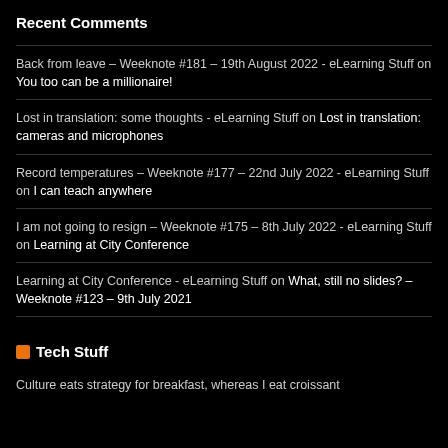Recent Comments
Back from leave – Weeknote #181 – 19th August 2022 - eLearning Stuff on You too can be a millionaire!
Lost in translation: some thoughts - eLearning Stuff on Lost in translation: cameras and microphones
Record temperatures – Weeknote #177 – 22nd July 2022 - eLearning Stuff on I can teach anywhere
I am not going to resign – Weeknote #175 – 8th July 2022 - eLearning Stuff on Learning at City Conference
Learning at City Conference - eLearning Stuff on What, still no slides? – Weeknote #123 – 9th July 2021
Tech Stuff
Culture eats strategy for breakfast, whereas I eat croissant